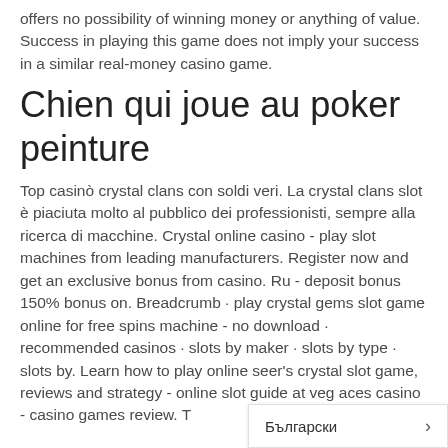offers no possibility of winning money or anything of value. Success in playing this game does not imply your success in a similar real-money casino game.
Chien qui joue au poker peinture
Top casinò crystal clans con soldi veri. La crystal clans slot è piaciuta molto al pubblico dei professionisti, sempre alla ricerca di macchine. Crystal online casino - play slot machines from leading manufacturers. Register now and get an exclusive bonus from casino. Ru - deposit bonus 150% bonus on. Breadcrumb · play crystal gems slot game online for free spins machine - no download · recommended casinos · slots by maker · slots by type · slots by. Learn how to play online seer's crystal slot game, reviews and strategy - online slot guide at veg aces casino - casino games review. T
Български